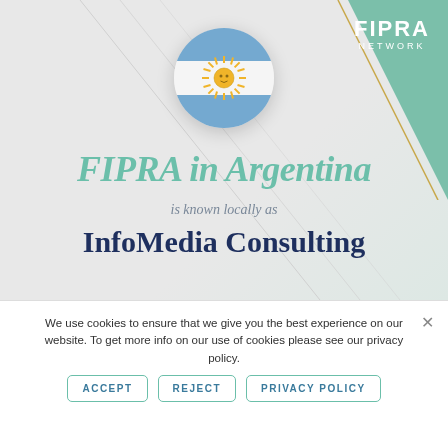[Figure (logo): FIPRA Network logo in white text on teal/green triangular background in top-right corner]
[Figure (illustration): Circular Argentina flag icon with blue and white horizontal stripes and sun emblem in center]
FIPRA in Argentina
is known locally as
InfoMedia Consulting
We use cookies to ensure that we give you the best experience on our website. To get more info on our use of cookies please see our privacy policy.
ACCEPT | REJECT | PRIVACY POLICY